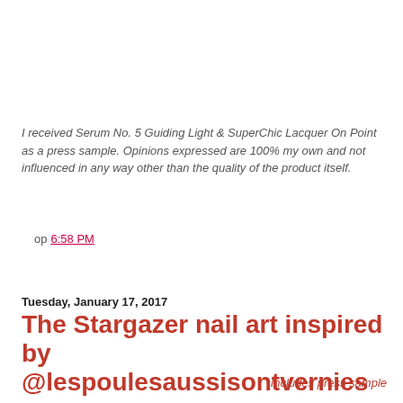I received Serum No. 5 Guiding Light & SuperChic Lacquer On Point as a press sample. Opinions expressed are 100% my own and not influenced in any way other than the quality of the product itself.
op 6:58 PM
Share
Tuesday, January 17, 2017
The Stargazer nail art inspired by @lespoulesaussisontvernies
Includes press sample